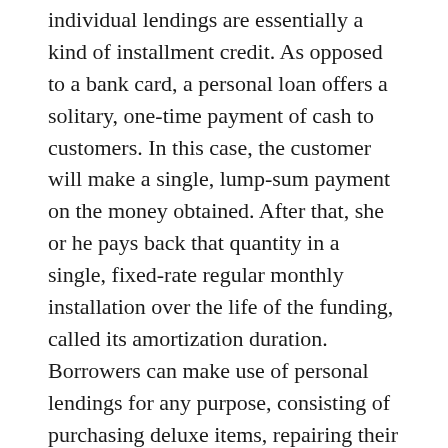individual lendings are essentially a kind of installment credit. As opposed to a bank card, a personal loan offers a solitary, one-time payment of cash to customers. In this case, the customer will make a single, lump-sum payment on the money obtained. After that, she or he pays back that quantity in a single, fixed-rate regular monthly installation over the life of the funding, called its amortization duration. Borrowers can make use of personal lendings for any purpose, consisting of purchasing deluxe items, repairing their houses, settling various other financial debts, and moneying higher education.
If you have an excellent credit rating as well as a consistent income, you may be able to get a